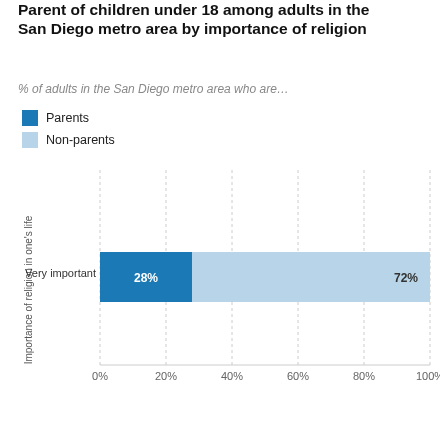Parent of children under 18 among adults in the San Diego metro area by importance of religion
% of adults in the San Diego metro area who are…
Parents
Non-parents
[Figure (stacked-bar-chart): Parent of children under 18 among adults in the San Diego metro area by importance of religion]